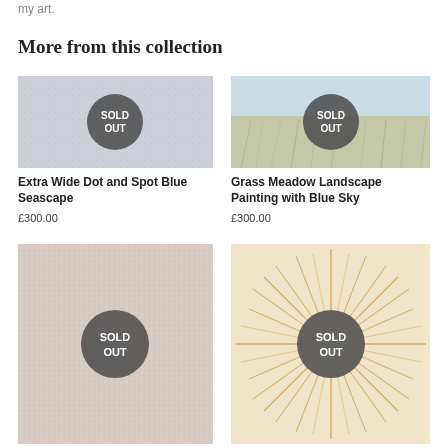my art.
More from this collection
[Figure (photo): Extra Wide Dot and Spot Blue Seascape painting with SOLD OUT badge overlay]
Extra Wide Dot and Spot Blue Seascape
£300.00
[Figure (photo): Grass Meadow Landscape Painting with Blue Sky with SOLD OUT badge overlay]
Grass Meadow Landscape Painting with Blue Sky
£300.00
[Figure (photo): Abstract dot and spot painting with SOLD OUT badge overlay]
[Figure (photo): Sunburst radial painting with SOLD OUT badge overlay]